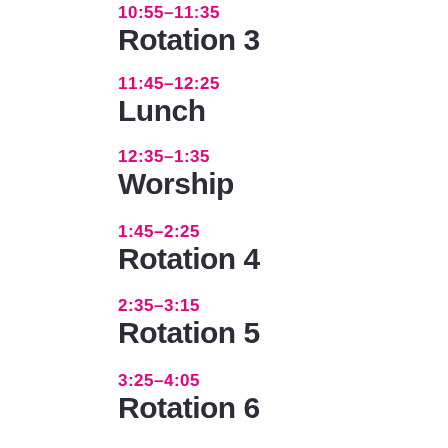10:55–11:35
Rotation 3
11:45–12:25
Lunch
12:35–1:35
Worship
1:45–2:25
Rotation 4
2:35–3:15
Rotation 5
3:25–4:05
Rotation 6